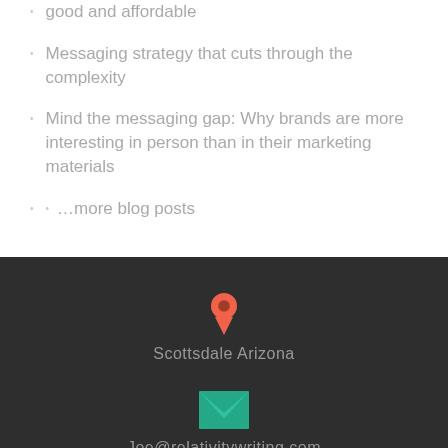good and affordable
Messaging strategy that cuts through the complexity
Mind the messaging gap: Why brands are more interesting in person than in their marketing materials
…more blog posts
Scottsdale Arizona
Joe@relativitywriting.com